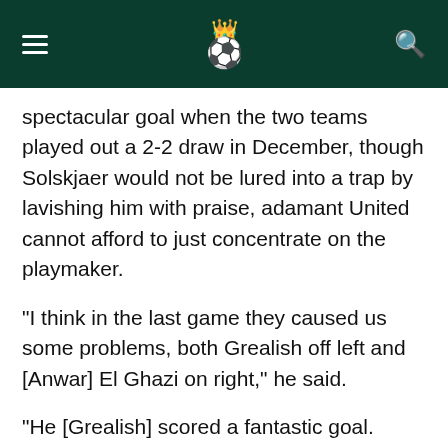Soccer news header with hamburger menu, crown and soccer ball logo, and search icon
spectacular goal when the two teams played out a 2-2 draw in December, though Solskjaer would not be lured into a trap by lavishing him with praise, adamant United cannot afford to just concentrate on the playmaker.
“I think in the last game they caused us some problems, both Grealish off left and [Anwar] El Ghazi on right,” he said.
“He [Grealish] scored a fantastic goal. There’s been loads said about him and we need to be aware of him, if he’s off the left, middle or right.